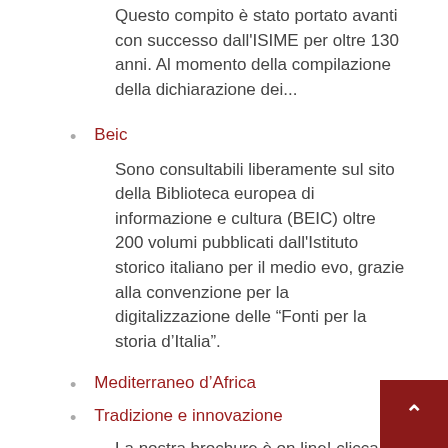Questo compito è stato portato avanti con successo dall'ISIME per oltre 130 anni. Al momento della compilazione della dichiarazione dei...
Beic
Sono consultabili liberamente sul sito della Biblioteca europea di informazione e cultura (BEIC) oltre 200 volumi pubblicati dall'Istituto storico italiano per il medio evo, grazie alla convenzione per la digitalizzazione delle “Fonti per la storia d’Italia”.
Mediterraneo d’Africa
Tradizione e innovazione
La nostra brochure è on line! clicca